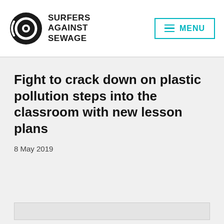Surfers Against Sewage — MENU
Fight to crack down on plastic pollution steps into the classroom with new lesson plans
8 May 2019
[Figure (photo): Image placeholder / article photo (light grey box)]